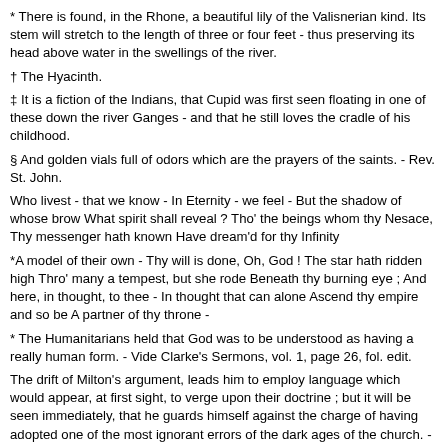* There is found, in the Rhone, a beautiful lily of the Valisnerian kind. Its stem will stretch to the length of three or four feet - thus preserving its head above water in the swellings of the river.
† The Hyacinth.
‡ It is a fiction of the Indians, that Cupid was first seen floating in one of these down the river Ganges - and that he still loves the cradle of his childhood.
§ And golden vials full of odors which are the prayers of the saints. - Rev. St. John.
Who livest - that we know - In Eternity - we feel - But the shadow of whose brow What spirit shall reveal ? Tho' the beings whom thy Nesace, Thy messenger hath known Have dream'd for thy Infinity
*A model of their own - Thy will is done, Oh, God ! The star hath ridden high Thro' many a tempest, but she rode Beneath thy burning eye ; And here, in thought, to thee - In thought that can alone Ascend thy empire and so be A partner of thy throne -
* The Humanitarians held that God was to be understood as having a really human form. - Vide Clarke's Sermons, vol. 1, page 26, fol. edit.
The drift of Milton's argument, leads him to employ language which would appear, at first sight, to verge upon their doctrine ; but it will be seen immediately, that he guards himself against the charge of having adopted one of the most ignorant errors of the dark ages of the church. - Dr. Sumner's Notes on Milton's Christian Doctrine.